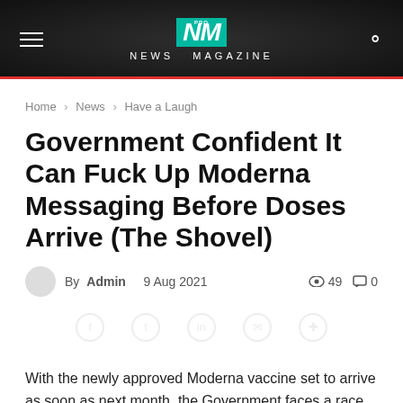NEWS MAGAZINE
Home › News › Have a Laugh
Government Confident It Can Fuck Up Moderna Messaging Before Doses Arrive (The Shovel)
By Admin  9 Aug 2021  👁 49  💬 0
With the newly approved Moderna vaccine set to arrive as soon as next month, the Government faces a race against the clock to